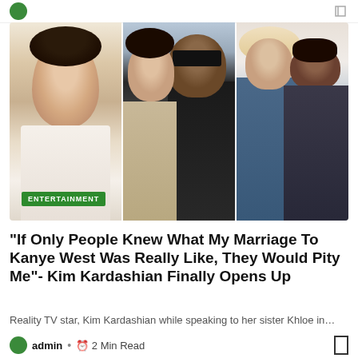[Figure (photo): Collage of three photos: Kim Kardashian solo in white blazer, Kim Kardashian and Kanye West together, Kim Kardashian with daughter North West. Green 'ENTERTAINMENT' tag overlaid on bottom left.]
“If Only People Knew What My Marriage To Kanye West Was Really Like, They Would Pity Me”- Kim Kardashian Finally Opens Up
Reality TV star, Kim Kardashian while speaking to her sister Khloe in…
admin • ⏱ 2 Min Read